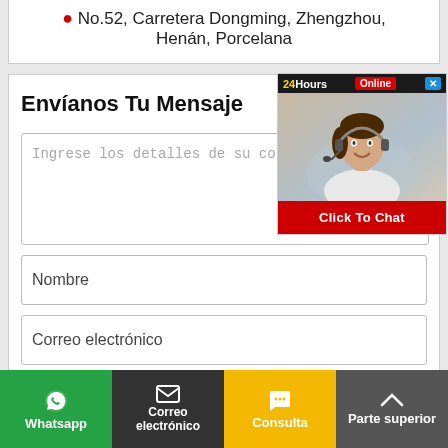No.52, Carretera Dongming, Zhengzhou, Henán, Porcelana
Envíanos Tu Mensaje
Ingrese los detalles de su consulta.
Nombre
Correo electrónico
Teléfono móvilpp
[Figure (screenshot): 24Hours Online chat popup with customer service representative photo and Click To Chat button]
Whatsapp | Correo electrónico | Consulta | Parte superior